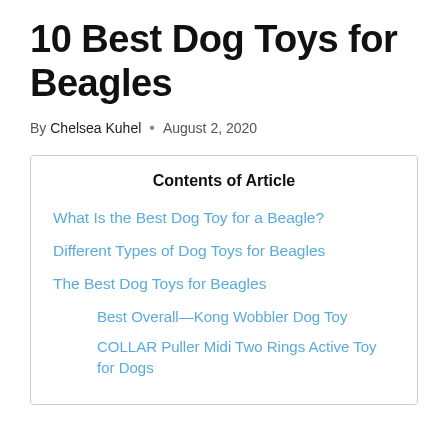10 Best Dog Toys for Beagles
By Chelsea Kuhel • August 2, 2020
Contents of Article
What Is the Best Dog Toy for a Beagle?
Different Types of Dog Toys for Beagles
The Best Dog Toys for Beagles
Best Overall—Kong Wobbler Dog Toy
COLLAR Puller Midi Two Rings Active Toy for Dogs